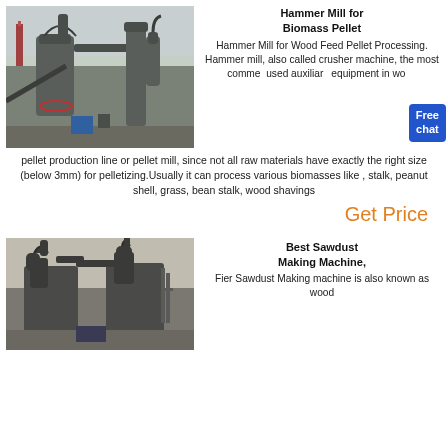[Figure (photo): Industrial hammer mill / biomass processing facility with large grey machinery, cyclones, conveyors and pipes outdoors]
Hammer Mill for Biomass Pellet
Hammer Mill for Wood Feed Pellet Processing. Hammer mill, also called crusher machine, the most commonly used auxiliary equipment in wood pellet production line or pellet mill, since not all raw materials have exactly the right size (below 3mm) for pelletizing.Usually it can process various biomasses like , stalk, peanut shell, grass, bean stalk, wood shavings
Get Price
[Figure (photo): Industrial sawdust making machines / wood chippers viewed from above, dark grey equipment outdoors on construction site]
Best Sawdust Making Machine,
Fier Sawdust Making machine is also known as wood